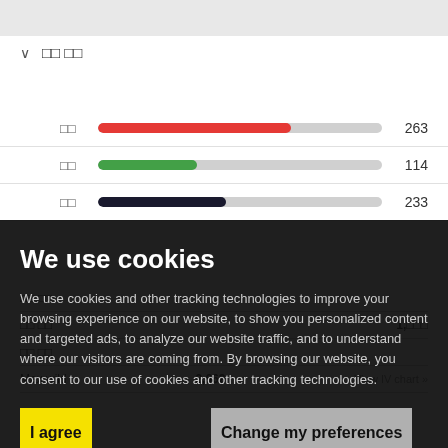∨  □□ □□
[Figure (infographic): Bar chart rows showing category labels (□□=263 red, □□=114 green, □□=233 dark), with horizontal progress bars and numeric values]
We use cookies
We use cookies and other tracking technologies to improve your browsing experience on our website, to show you personalized content and targeted ads, to analyze our website traffic, and to understand where our visitors are coming from. By browsing our website, you consent to our use of cookies and other tracking technologies.
I agree
Change my preferences